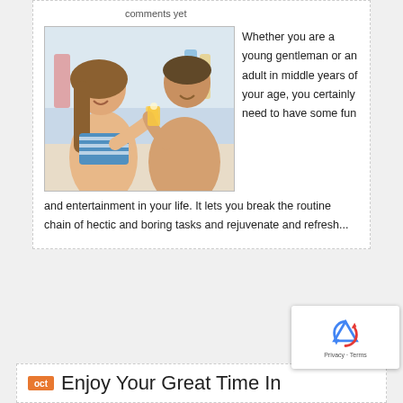comments yet
[Figure (photo): A young couple toasting with orange juice drinks outdoors, smiling at each other. Woman in striped bikini top, man shirtless.]
Whether you are a young gentleman or an adult in middle years of your age, you certainly need to have some fun and entertainment in your life. It lets you break the routine chain of hectic and boring tasks and rejuvenate and refresh...
Enjoy Your Great Time In